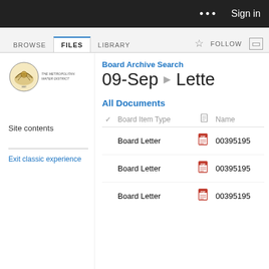... Sign in
BROWSE FILES LIBRARY FOLLOW
[Figure (logo): The Metropolitan Water District seal/logo with eagle and text]
Board Archive Search 09-Sep ▶ Lette
Site contents
Exit classic experience
All Documents
| ✓ | Board Item Type |  | Name |
| --- | --- | --- | --- |
|  | Board Letter | [pdf] | 00395195 |
|  | Board Letter | [pdf] | 00395195 |
|  | Board Letter | [pdf] | 00395195 |